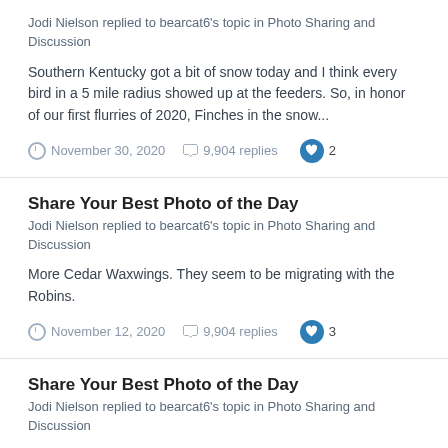Jodi Nielson replied to bearcat6's topic in Photo Sharing and Discussion
Southern Kentucky got a bit of snow today and I think every bird in a 5 mile radius showed up at the feeders. So, in honor of our first flurries of 2020, Finches in the snow...
November 30, 2020  9,904 replies  2
Share Your Best Photo of the Day
Jodi Nielson replied to bearcat6's topic in Photo Sharing and Discussion
More Cedar Waxwings. They seem to be migrating with the Robins.
November 12, 2020  9,904 replies  3
Share Your Best Photo of the Day
Jodi Nielson replied to bearcat6's topic in Photo Sharing and Discussion